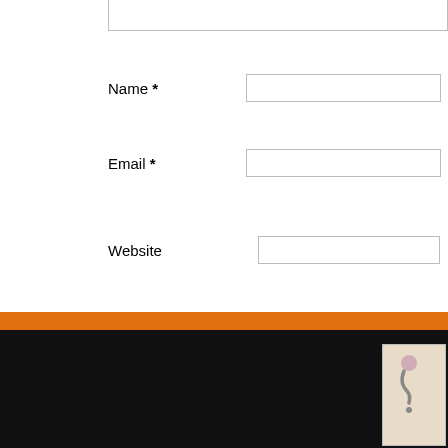Name *
Email *
Website
[Figure (other): reCAPTCHA widget with checkbox labeled 'I'm not a robot', reCAPTCHA logo with rotating arrows, Privacy and Terms links]
Submit Comment
Comments RSS Feed
[Figure (other): Orange horizontal bar and black footer area with a question mark image thumbnail in the bottom right corner]